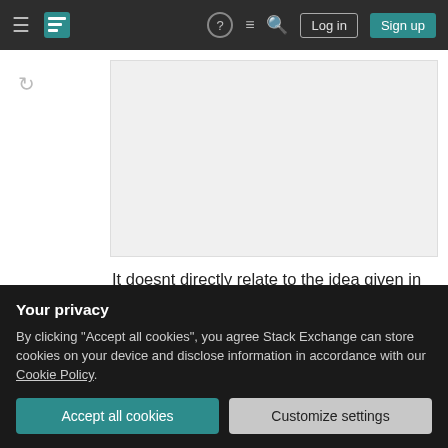Stack Exchange navigation bar with hamburger menu, logo, help, chat, search icons, Log in and Sign up buttons
[Figure (screenshot): Gray content/code block area]
It doesnt directly relate to the idea given in hint. But it's close.
Share    Improve this answer    answered Nov 21, 2017 at 4:05    Amyanshu Jenamani
Your privacy
By clicking "Accept all cookies", you agree Stack Exchange can store cookies on your device and disclose information in accordance with our Cookie Policy.
Accept all cookies    Customize settings
in a code. "Lines" can be related to lines of sentences